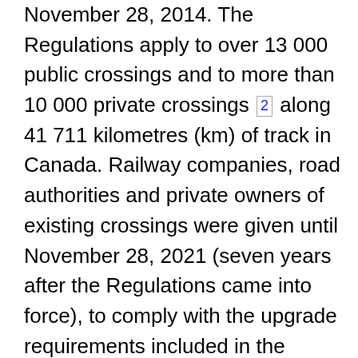November 28, 2014. The Regulations apply to over 13 000 public crossings and to more than 10 000 private crossings [2] along 41 711 kilometres (km) of track in Canada. Railway companies, road authorities and private owners of existing crossings were given until November 28, 2021 (seven years after the Regulations came into force), to comply with the upgrade requirements included in the Regulations. These requirements touched areas such as sightlines, crossing surface, road geometry (road approach, gradient/crossings angle, travelled way width), warning system